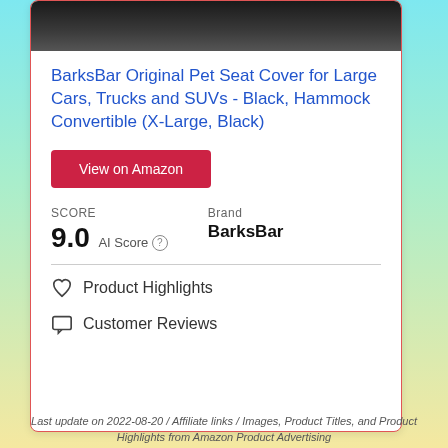[Figure (photo): Partial product photo of a dark/black pet seat cover for cars, cropped at top of card]
BarksBar Original Pet Seat Cover for Large Cars, Trucks and SUVs - Black, Hammock Convertible (X-Large, Black)
View on Amazon
SCORE
9.0  AI Score

Brand
BarksBar
Product Highlights
Customer Reviews
Last update on 2022-08-20 / Affiliate links / Images, Product Titles, and Product Highlights from Amazon Product Advertising